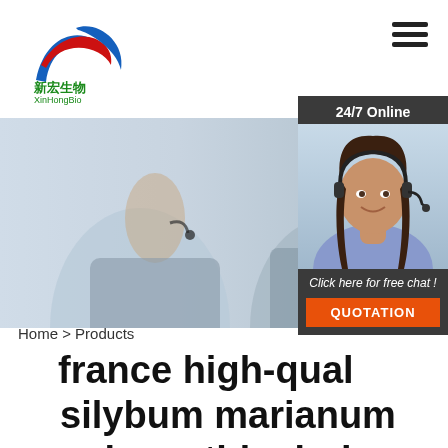[Figure (logo): XinHongBio company logo with blue/red swoosh graphics and Chinese characters 新宏生物]
[Figure (photo): Hero banner showing two business people with headsets in a call center environment, blurred background]
[Figure (photo): Chat widget showing smiling woman with headset, 24/7 Online label, Click here for free chat text, and orange QUOTATION button]
Home > Products
france high-quality silybum marianum polypeptide drying powder factory